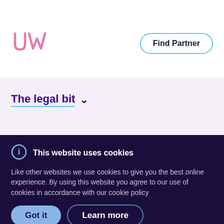[Figure (logo): UW logo in pink/magenta outline lettering]
Find Partner
The legal bit
This website uses cookies
Like other websites we use cookies to give you the best online experience. By using this website you agree to our use of cookies in accordance with our cookie policy
Got it
Learn more